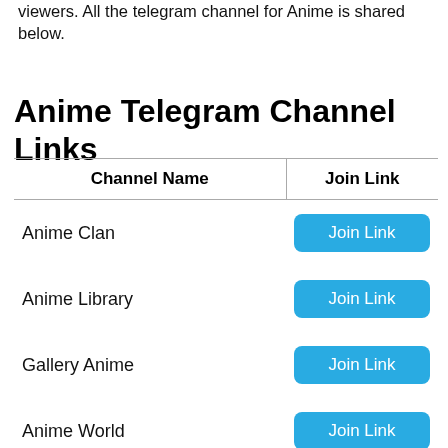viewers. All the telegram channel for Anime is shared below.
Anime Telegram Channel Links
| Channel Name | Join Link |
| --- | --- |
| Anime Clan | Join Link |
| Anime Library | Join Link |
| Gallery Anime | Join Link |
| Anime World | Join Link |